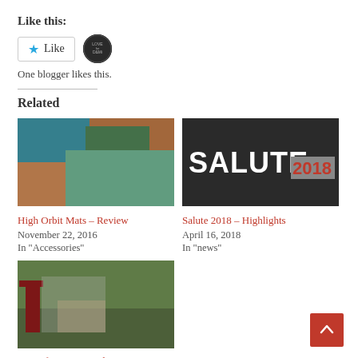Like this:
[Figure (other): Like button with star icon and a circular blogger avatar badge]
One blogger likes this.
Related
[Figure (photo): High Orbit Mats review - colorful terrain mats photo]
High Orbit Mats – Review
November 22, 2016
In "Accessories"
[Figure (photo): Salute 2018 logo on dark background]
Salute 2018 – Highlights
April 16, 2018
In "news"
[Figure (photo): Test Of Honour Battle game scene with miniatures]
Test Of Honour Battle